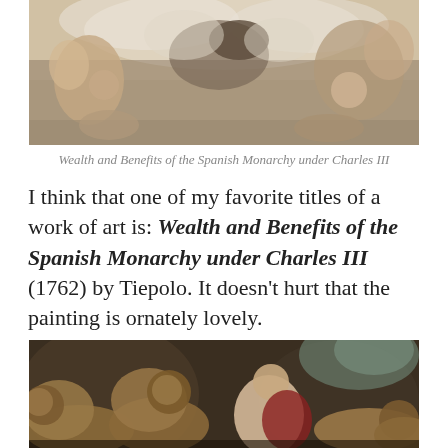[Figure (photo): Baroque ceiling fresco painting depicting allegorical figures, angels, horses and clouds — Wealth and Benefits of the Spanish Monarchy under Charles III by Tiepolo]
Wealth and Benefits of the Spanish Monarchy under Charles III
I think that one of my favorite titles of a work of art is: Wealth and Benefits of the Spanish Monarchy under Charles III (1762) by Tiepolo. It doesn't hurt that the painting is ornately lovely.
[Figure (photo): Baroque painting of Daniel in the lions' den — a man sitting among multiple lions in a dark rocky setting, looking upward with hands clasped]